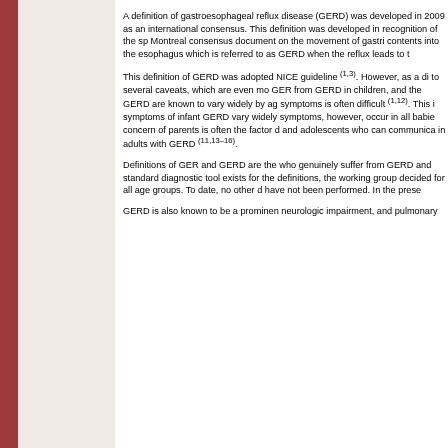A definition of gastroesophageal reflux disease (GERD) was developed in 2009 as an international consensus. This definition was developed in recognition of the spectrum of disease. The Montreal consensus document on the definition of GERD defines the movement of gastric contents into the esophagus which is referred to as GERD when the reflux leads to troublesome symptoms.
This definition of GERD was adopted by the most recent NICE guideline (1,3). However, as a diagnostic definition it leads to several caveats, which are even more problematic in separating GER from GERD in children, and the manifestations of GERD are known to vary widely by age, and the recognition of symptoms is often difficult (1,12). This is in part because the symptoms of infant GERD vary widely and many of these symptoms, however, occur in all babies. The degree of concern of parents is often the factor determining. In children and adolescents who can communicate, symptoms are similar to in adults with GERD (11,13–16).
Definitions of GER and GERD are the basis for identifying who genuinely suffer from GERD and since no single gold standard diagnostic tool exists for the diagnosis of GERD in definitions, the working group decided to adopt definitions for all age groups. To date, no other definitions of this kind have not been performed. In the prese
GERD is also known to be a prominent comorbidity of neurologic impairment, and pulmonary